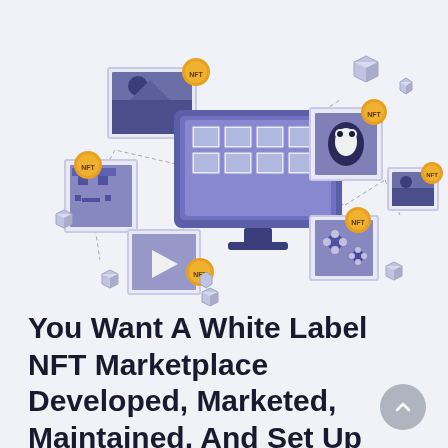[Figure (illustration): NFT marketplace illustration showing a central computer monitor displaying a grid of NFT artwork thumbnails, surrounded by framed NFT images (landscape, penguin character, pixel face character, flowers, video player), gold NFT coins, and 3D cube decorative elements, all connected by dashed lines, on a light gray-blue background.]
You Want A White Label NFT Marketplace Developed, Marketed, Maintained, And Set Up With No Huge…